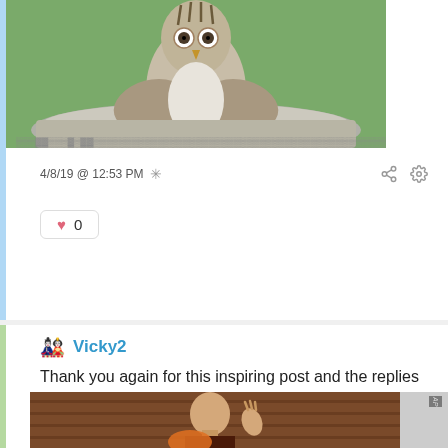[Figure (photo): Bird (owl or eaglet) sitting in a stone bird bath, viewed from front, outdoors with green foliage background]
4/8/19 @ 12:53 PM *
0
🎎 Vicky2
Thank you again for this inspiring post and the replies and lovely images.
[Figure (photo): Bald man in profile praying with hands together, wearing dark robe, appears to be a monk. AP watermark in corner.]